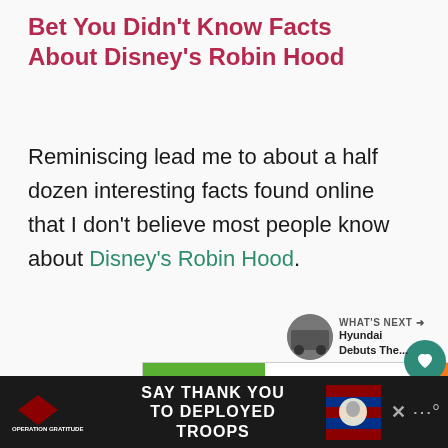Bet You Didn't Know Facts About Disney's Robin Hood
Reminiscing lead me to about a half dozen interesting facts found online that I don't believe most people know about Disney's Robin Hood.
[Figure (other): Cookie Dough for Kids Cancer advertisement banner. Green section with 'COOKIE DOUGH' text, white middle with 'Childhood cancer didn't stop for COVID-19.', orange section with cookie logo, 'for kids cancer', 'GET BAKING']
[Figure (other): Social media sidebar with heart icon (teal), count '2', and share icon]
[Figure (other): What's Next panel: Hyundai Debuts The... with car thumbnail]
[Figure (other): Bottom advertisement bar: Operation Gratitude - SAY THANK YOU TO DEPLOYED TROOPS, with patriotic owl graphic]